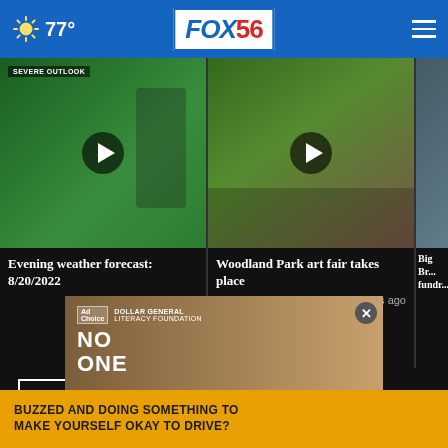FOX56 — 77°
[Figure (screenshot): Video thumbnail: weather forecast with 'SEVERE OUTLOOK' overlay and play button]
Evening weather forecast: 8/20/2022
5 hours ago
[Figure (screenshot): Video thumbnail: Woodland Park art fair outdoor scene with play button]
Woodland Park art fair takes place
5 hours ago
[Figure (screenshot): Partial video thumbnail: Big Brothers fundraiser (partially cropped)]
Big Br... fundr...
More Videos ›
[Figure (screenshot): Advertisement with Dollar General Literacy Foundation logo and 'NO ONE DIPLOMA' text, close button]
BUZZED AND DOING SOMETHING TO MAKE YOURSELF OKAY TO DRIVE?